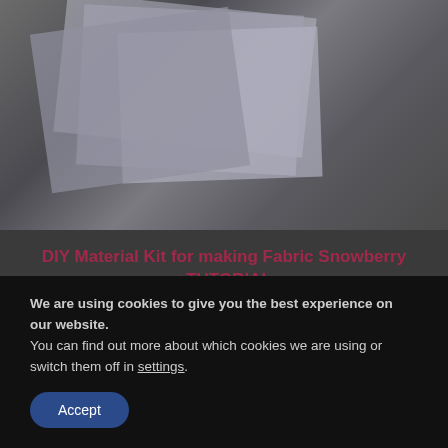[Figure (photo): A stack of fabric sheets in grey and blue tones on a dark background, showing layered textile materials.]
DIY Material Kit for making Fabric Snowberry +TUTORIAL
NOT RATED
£27.90
ADD TO BASKET
We are using cookies to give you the best experience on our website.
You can find out more about which cookies we are using or switch them off in settings.
Accept